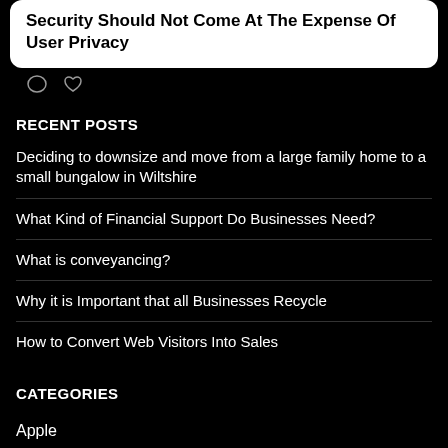[Figure (screenshot): Partial social media card with text 'Security Should Not Come At The Expense Of User Privacy' and two icons (comment and heart) below on a white rounded rectangle card with black background]
RECENT POSTS
Deciding to downsize and move from a large family home to a small bungalow in Wiltshire
What Kind of Financial Support Do Businesses Need?
What is conveyancing?
Why it is Important that all Businesses Recycle
How to Convert Web Visitors Into Sales
CATEGORIES
Apple